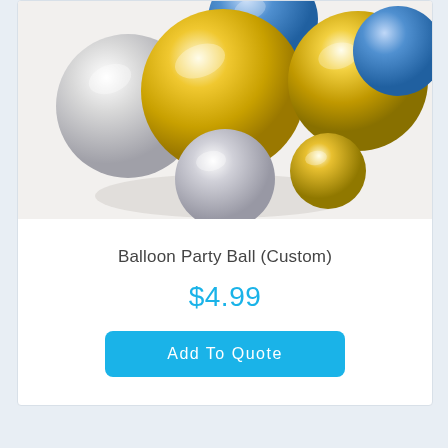[Figure (photo): A cluster of metallic balloons in gold, silver/white, and blue colors arranged together on a light background]
Balloon Party Ball (Custom)
$4.99
Add To Quote